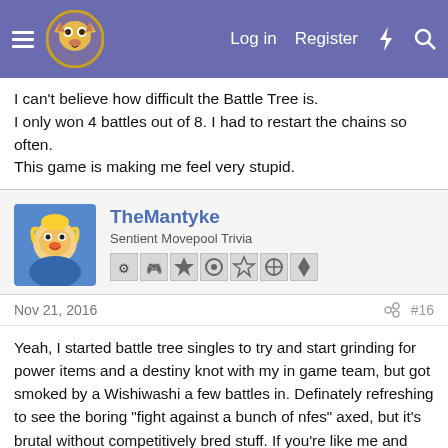Navigation bar with logo, Log in, Register links and icons
I can't believe how difficult the Battle Tree is.
I only won 4 battles out of 8. I had to restart the chains so often.
This game is making me feel very stupid.
TheMantyke
Sentient Movepool Trivia
Nov 21, 2016  #16
Yeah, I started battle tree singles to try and start grinding for power items and a destiny knot with my in game team, but got smoked by a Wishiwashi a few battles in. Definately refreshing to see the boring "fight against a bunch of nfes" axed, but it's brutal without competitively bred stuff. If you're like me and just trying to get a foothold to start getting competitive stuff, I'd recommend doing battle royals first. Wins on the highest level give you 5BP a piece. Managed to get a Power Anklet and Power Lens in a reasonable amount of time last night.